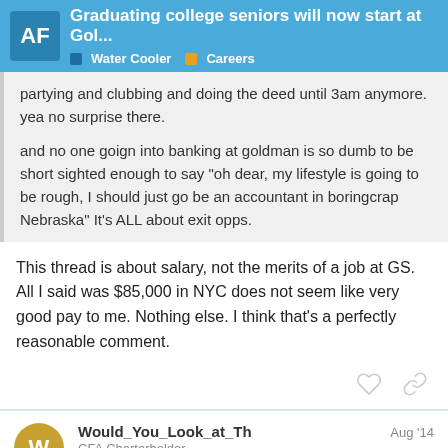AF | Graduating college seniors will now start at Gol... | Water Cooler | Careers
partying and clubbing and doing the deed until 3am anymore. yea no surprise there.

and no one goign into banking at goldman is so dumb to be short sighted enough to say "oh dear, my lifestyle is going to be rough, I should just go be an accountant in boringcrap Nebraska" It's ALL about exit opps.
This thread is about salary, not the merits of a job at GS. All I said was $85,000 in NYC does not seem like very good pay to me. Nothing else. I think that's a perfectly reasonable comment.
Would_You_Look_at_Th
CFA Charterholder
Aug '14
I would never live in texas… i enjoy visitin